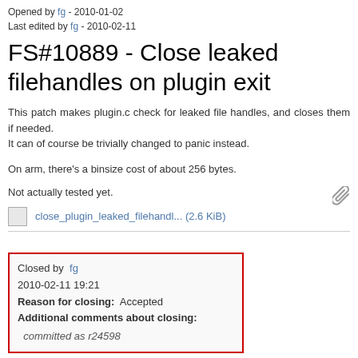Opened by fg - 2010-01-02
Last edited by fg - 2010-02-11
FS#10889 - Close leaked filehandles on plugin exit
This patch makes plugin.c check for leaked file handles, and closes them if needed.
It can of course be trivially changed to panic instead.
On arm, there's a binsize cost of about 256 bytes.
Not actually tested yet.
close_plugin_leaked_filehandl... (2.6 KiB)
Closed by fg
2010-02-11 19:21
Reason for closing: Accepted
Additional comments about closing:
committed as r24598